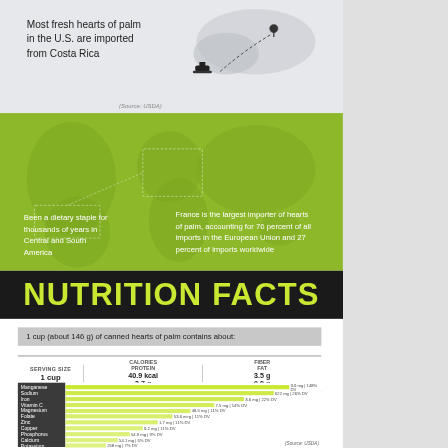[Figure (infographic): Map showing Costa Rica with dashed line to ship indicating hearts of palm import route to U.S.]
Most fresh hearts of palm in the U.S. are imported from Costa Rica
(Source: USDA)
[Figure (infographic): World map in green showing Central/South America and Europe with dashed annotation lines]
Been a dietary staple for thousands of years in Central and South America
France is the largest importer of hearts of palm, accounting for 76 percent of all imports in the European Union and 27 percent of imports worldwide
NUTRITION FACTS
1 cup (about 146 g) of canned hearts of palm contains about:
| SERVING SIZE 1 cup | CALORIES PROTEIN | 40.9 kcal 3.7 g | FIBER FAT | 3.5 g 0.9 g |
| --- | --- | --- | --- | --- |
| Nutrient | Amount |
| --- | --- |
| Manganese | 3.0 mg | 148% DV |
| Sodium | 622 mg | 26% DV |
| Iron | 3.6 mg | 22% DV |
| Vitamin C | 7.5 mg | 14% DV |
| Magnesium | 48.5 mg | 11% DV |
| Folate | 53.6 mcg | 11% DV |
| Zinc | 1.7 mg | 11% DV |
| Copper | 0.2 mg | 11% DV |
| Phosphorus | 54.9 mg | 9% DV |
| Calcium | 54.1 mg | 5% DV |
| Potassium | 258 mg | 7% DV |
(Source: USDA)
Dr. Axe